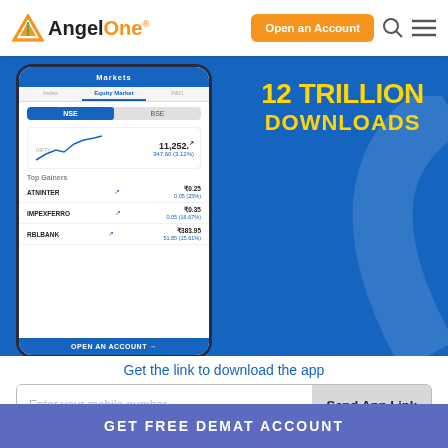[Figure (screenshot): AngelOne website header with logo, 'Open an Account' orange button, search icon, and hamburger menu icon]
[Figure (screenshot): Mobile app screenshot showing Markets screen with Equity Market selected, NSE/BSE tabs, index chart showing 11,252 value with 347.60 (3.12%), Top Gainers section with ATNINTER (₹0.25), IMPEXFERRO (₹0.35), RBLBANK (₹383.95)]
12 TRILLION DOWNLOADS
Get the link to download the app
Enter your mobile number
Send App Link
Enjoy Lifetime Free Delivery Trade
GET FREE DEMAT ACCOUNT